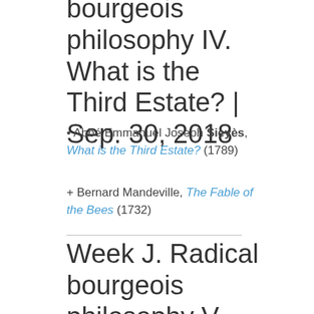bourgeois philosophy IV. What is the Third Estate? | Sep. 30, 2018
• Abbé Emmanuel Joseph Sieyès, What is the Third Estate? (1789)
+ Bernard Mandeville, The Fable of the Bees (1732)
Week J. Radical bourgeois philosophy V. Kant and